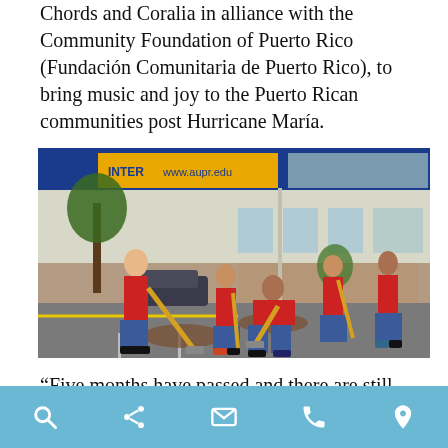Chords and Coralia in alliance with the Community Foundation of Puerto Rico (Fundación Comunitaria de Puerto Rico), to bring music and joy to the Puerto Rican communities post Hurricane María.
[Figure (photo): Group of volunteers in red shirts working outdoors in a parking lot area, digging and planting trees, with a building and banner reading www.aupr.edu in the background.]
“Five months have passed and there are still
search share email phone location icons